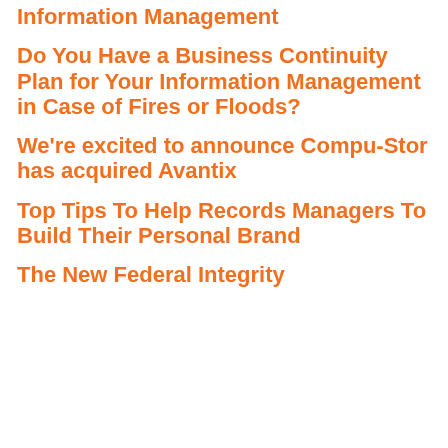Information Management
Do You Have a Business Continuity Plan for Your Information Management in Case of Fires or Floods?
We're excited to announce Compu-Stor has acquired Avantix
Top Tips To Help Records Managers To Build Their Personal Brand
The New Federal Integrity